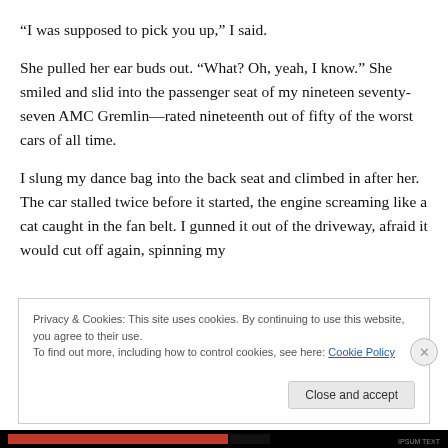“I was supposed to pick you up,” I said.
She pulled her ear buds out. “What? Oh, yeah, I know.” She smiled and slid into the passenger seat of my nineteen seventy-seven AMC Gremlin—rated nineteenth out of fifty of the worst cars of all time.
I slung my dance bag into the back seat and climbed in after her. The car stalled twice before it started, the engine screaming like a cat caught in the fan belt. I gunned it out of the driveway, afraid it would cut off again, spinning my
Privacy & Cookies: This site uses cookies. By continuing to use this website, you agree to their use.
To find out more, including how to control cookies, see here: Cookie Policy
Close and accept